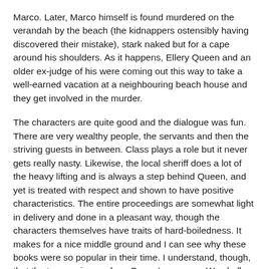Marco.  Later, Marco himself is found murdered on the verandah by the beach (the kidnappers ostensibly having discovered their mistake), stark naked but for a cape around his shoulders.  As it happens, Ellery Queen and an older ex-judge of his were coming out this way to take a well-earned vacation at a neighbouring beach house and they get involved in the murder.
The characters are quite good and the dialogue was fun.  There are very wealthy people, the servants and then the striving guests in between.  Class plays a role but it never gets really nasty.  Likewise, the local sheriff does a lot of the heavy lifting and is always a step behind Queen, and yet is treated with respect and shown to have positive characteristics.  The entire proceedings are somewhat light in delivery and done in a pleasant way, though the characters themselves have traits of hard-boiledness.  It makes for a nice middle ground and I can see why these books were so popular in their time.  I understand, though, that the tone varies as does Queen's persona.  We shall see.